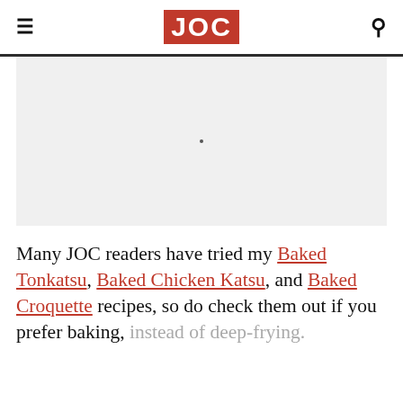JOC (Just One Cookbook) logo with hamburger menu and search icon
[Figure (photo): Large image placeholder area with light gray background and a small centered dot]
Many JOC readers have tried my Baked Tonkatsu, Baked Chicken Katsu, and Baked Croquette recipes, so do check them out if you prefer baking, instead of deep-frying.